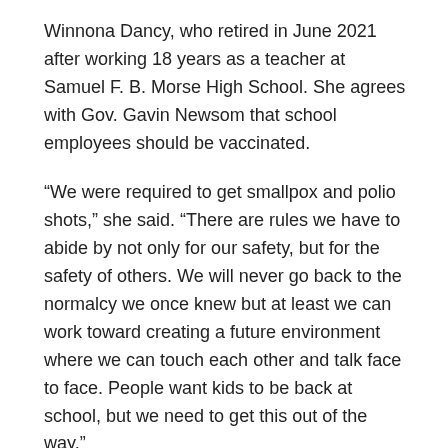Winnona Dancy, who retired in June 2021 after working 18 years as a teacher at Samuel F. B. Morse High School. She agrees with Gov. Gavin Newsom that school employees should be vaccinated.
“We were required to get smallpox and polio shots,” she said. “There are rules we have to abide by not only for our safety, but for the safety of others. We will never go back to the normalcy we once knew but at least we can work toward creating a future environment where we can touch each other and talk face to face. People want kids to be back at school, but we need to get this out of the way.”
Students return for the first day of classes on Monday, August 30. The SDUSD is following guidance from the Centers for Disease Control and the California Department of Public Health (CDPH), which recommends people two years